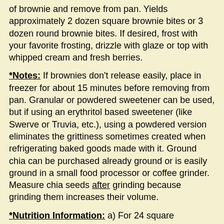of brownie and remove from pan. Yields approximately 2 dozen square brownie bites or 3 dozen round brownie bites. If desired, frost with your favorite frosting, drizzle with glaze or top with whipped cream and fresh berries.
*Notes: If brownies don't release easily, place in freezer for about 15 minutes before removing from pan. Granular or powdered sweetener can be used, but if using an erythritol based sweetener (like Swerve or Truvia, etc.), using a powdered version eliminates the grittiness sometimes created when refrigerating baked goods made with it. Ground chia can be purchased already ground or is easily ground in a small food processor or coffee grinder. Measure chia seeds after grinding because grinding them increases their volume.
*Nutrition Information: a) For 24 square brownies, each contains approximately 1.8 grams net carbohydrates (total carbohydrates minus fiber) and less than 1 gram of sugar (0.72 grams); b) For 36 smaller round brownies, each contains 1.2 net carbohydrates and less than 1 gram of sugar (0.48 grams).